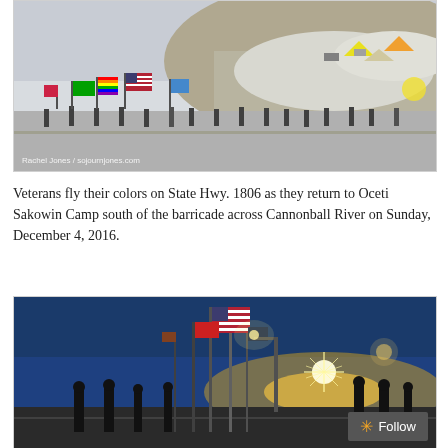[Figure (photo): Aerial/elevated view of veterans marching on State Hwy. 1806 in winter, carrying colorful flags including US flag, rainbow flag, and others. Snow-covered ground, camp visible in background. Photo credit: Rachel Jones / sojournjones.com]
Veterans fly their colors on State Hwy. 1806 as they return to Oceti Sakowin Camp south of the barricade across Cannonball River on Sunday, December 4, 2016.
[Figure (photo): Veterans marching at sunset/dusk carrying US flag and other flags, silhouetted against a bright sun with starburst effect. Blue sky, bridge or road setting.]